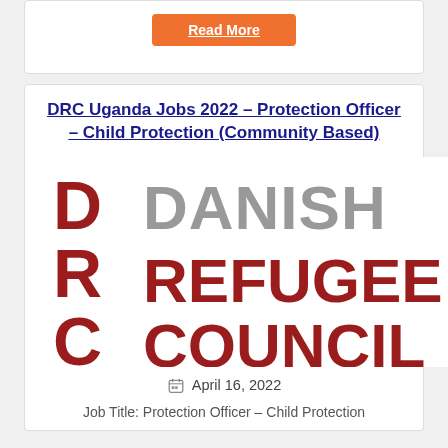Read More
DRC Uganda Jobs 2022 – Protection Officer – Child Protection (Community Based)
[Figure (logo): Danish Refugee Council (DRC) logo with red block letters DRC on the left and grey/dark red text DANISH REFUGEE COUNCIL on the right]
April 16, 2022
Job Title: Protection Officer – Child Protection